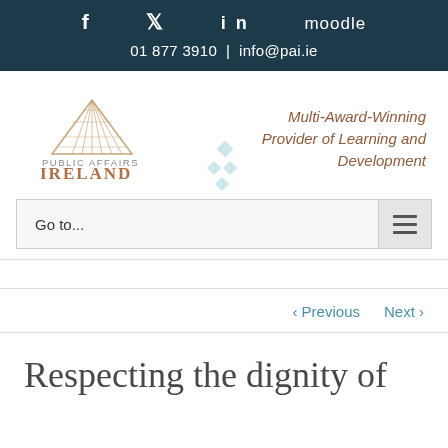f  •  in  moodle
01 877 3910 | info@pai.ie
[Figure (logo): Public Affairs Ireland logo with pyramid graphic and text 'PUBLIC AFFAIRS IRELAND']
Multi-Award-Winning Provider of Learning and Development
Go to...
‹ Previous   Next ›
Respecting the dignity of